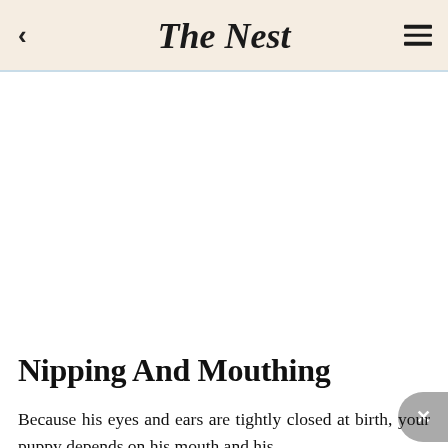The Nest
[Figure (photo): Large image placeholder area (white background) below the navigation header, likely a pet/puppy photo not loaded]
Nipping And Mouthing
Because his eyes and ears are tightly closed at birth, your puppy depends on his mouth and his